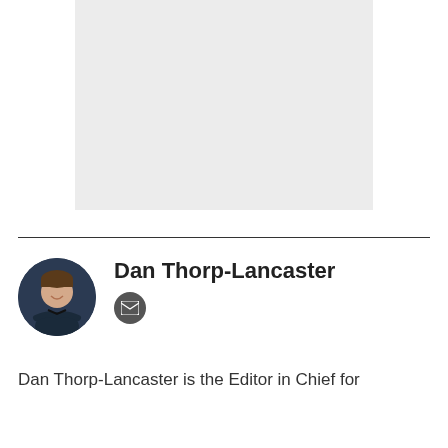[Figure (photo): Light gray rectangular placeholder image area]
[Figure (photo): Circular headshot photo of Dan Thorp-Lancaster, a man with short hair wearing a dark shirt with arms crossed, smiling, against a dark blue background]
Dan Thorp-Lancaster
Dan Thorp-Lancaster is the Editor in Chief for